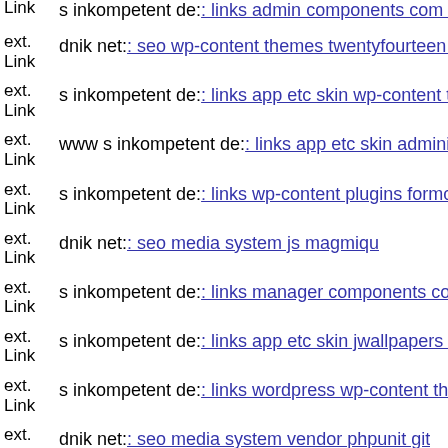ext. Link s inkompetent de: links admin components com sexycontact...
ext. Link dnik net: seo wp-content themes twentyfourteen core compone...
ext. Link s inkompetent de: links app etc skin wp-content themes tisa sty...
ext. Link www s inkompetent de: links app etc skin administrator compo...
ext. Link s inkompetent de: links wp-content plugins formcraft file-uploa...
ext. Link dnik net: seo media system js magmiqu
ext. Link s inkompetent de: links manager components com foxcontact v...
ext. Link s inkompetent de: links app etc skin jwallpapers files plupload
ext. Link s inkompetent de: links wordpress wp-content themes optimize...
ext. Link dnik net: seo media system vendor phpunit git
ext. Link www dnik net: seo wp-content plugins wp-mobile-detector cac...
ext. Link dnik net: seo adminbgx'ijj